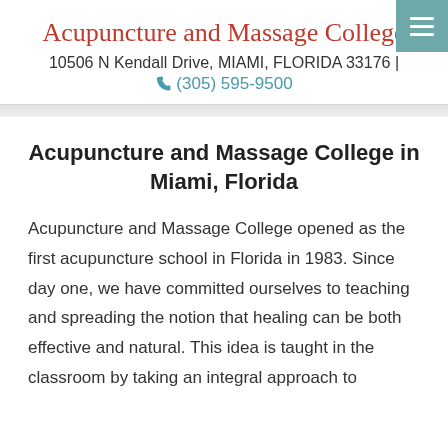Acupuncture and Massage College
10506 N Kendall Drive, MIAMI, FLORIDA 33176 | (305) 595-9500
Acupuncture and Massage College in Miami, Florida
Acupuncture and Massage College opened as the first acupuncture school in Florida in 1983. Since day one, we have committed ourselves to teaching and spreading the notion that healing can be both effective and natural. This idea is taught in the classroom by taking an integral approach to